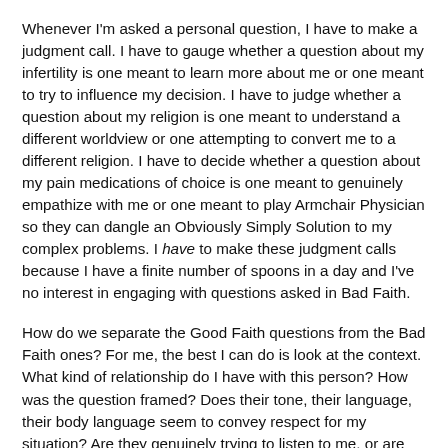Whenever I'm asked a personal question, I have to make a judgment call. I have to gauge whether a question about my infertility is one meant to learn more about me or one meant to try to influence my decision. I have to judge whether a question about my religion is one meant to understand a different worldview or one attempting to convert me to a different religion. I have to decide whether a question about my pain medications of choice is one meant to genuinely empathize with me or one meant to play Armchair Physician so they can dangle an Obviously Simply Solution to my complex problems. I have to make these judgment calls because I have a finite number of spoons in a day and I've no interest in engaging with questions asked in Bad Faith.
How do we separate the Good Faith questions from the Bad Faith ones? For me, the best I can do is look at the context. What kind of relationship do I have with this person? How was the question framed? Does their tone, their language, their body language seem to convey respect for my situation? Are they genuinely trying to listen to me, or are they just interested in informing me of their advice? Advice isn't the same regardless of the source. Recommendations